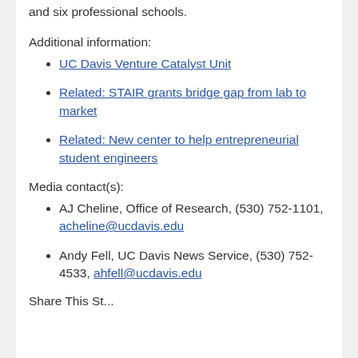and six professional schools.
Additional information:
UC Davis Venture Catalyst Unit
Related: STAIR grants bridge gap from lab to market
Related: New center to help entrepreneurial student engineers
Media contact(s):
AJ Cheline, Office of Research, (530) 752-1101, acheline@ucdavis.edu
Andy Fell, UC Davis News Service, (530) 752-4533, ahfell@ucdavis.edu
Share This St...